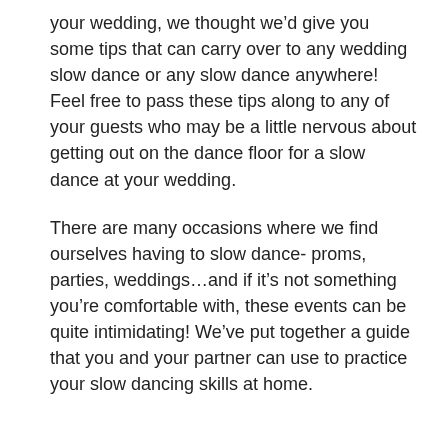your wedding, we thought we'd give you some tips that can carry over to any wedding slow dance or any slow dance anywhere! Feel free to pass these tips along to any of your guests who may be a little nervous about getting out on the dance floor for a slow dance at your wedding.
There are many occasions where we find ourselves having to slow dance- proms, parties, weddings...and if it's not something you're comfortable with, these events can be quite intimidating! We've put together a guide that you and your partner can use to practice your slow dancing skills at home.